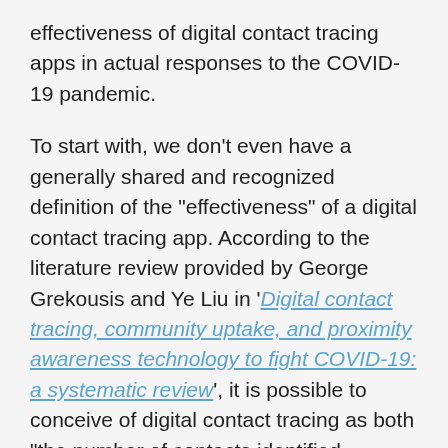effectiveness of digital contact tracing apps in actual responses to the COVID-19 pandemic.
To start with, we don't even have a generally shared and recognized definition of the "effectiveness" of a digital contact tracing app. According to the literature review provided by George Grekousis and Ye Liu in 'Digital contact tracing, community uptake, and proximity awareness technology to fight COVID-19: a systematic review', it is possible to conceive of digital contact tracing as both "the number of contacts identified through digital contact tracing", and – as they themselves do – "the actual effect of digital contact tracing on reducing the effective reproductive number, or the number of infected individuals". And, depending on which